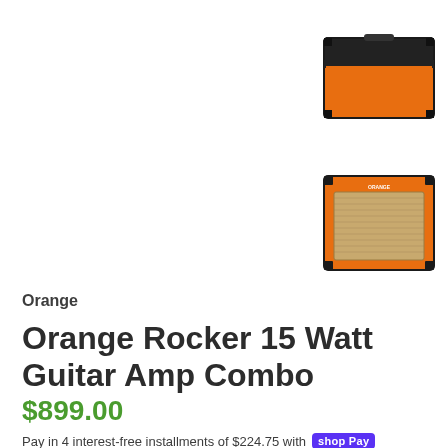[Figure (photo): Orange guitar amp combo - top/back view thumbnail]
[Figure (photo): Orange guitar amp combo - front view thumbnail]
Orange
Orange Rocker 15 Watt Guitar Amp Combo
$899.00
Pay in 4 interest-free installments of $224.75 with Shop Pay